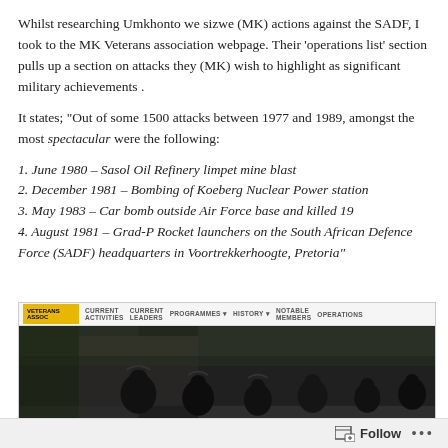Whilst researching Umkhonto we sizwe (MK) actions against the SADF, I took to the MK Veterans association webpage. Their 'operations list' section pulls up a section on attacks they (MK) wish to highlight as significant military achievements .
It states; "Out of some 1500 attacks between 1977 and 1989, amongst the most spectacular were the following:
1. June 1980 – Sasol Oil Refinery limpet mine blast
2. December 1981 – Bombing of Koeberg Nuclear Power station
3. May 1983 – Car bomb outside Air Force base and killed 19
4. August 1981 – Grad-P Rocket launchers on the South African Defence Force (SADF) headquarters in Voortrekkerhoogte, Pretoria"
[Figure (screenshot): Screenshot of MK Veterans association webpage showing navigation bar with logo, menu items (Current Activities, Current Leaders, Programmes, History, Notable Members, Operations), and a black-and-white photograph of soldiers in military gear.]
Follow ···